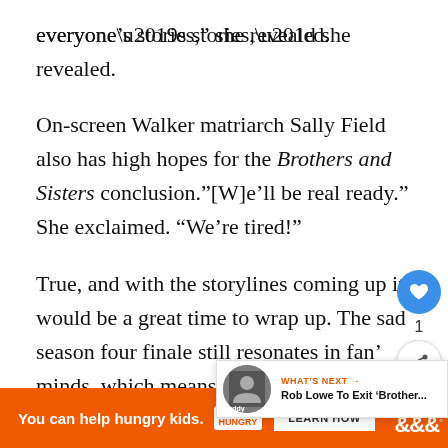everyone’s stories,” she revealed.
On-screen Walker matriarch Sally Field also has high hopes for the Brothers and Sisters conclusion.”[W]e’ll be real ready.” She exclaimed. “We’re tired!”
True, and with the storylines coming up it would be a great time to wrap up. The sad season four finale still resonates in fans’ minds, which means the writers will need to top that.
[Figure (screenshot): Social interaction bar with heart/like button showing count of 1 and share button]
[Figure (infographic): What's Next promo box: Rob Lowe To Exit 'Brother...' with buddy icon thumbnail]
[Figure (screenshot): Orange advertisement bar: You can help hungry kids. No Kid Hungry. Learn How button. WW logo on right.]